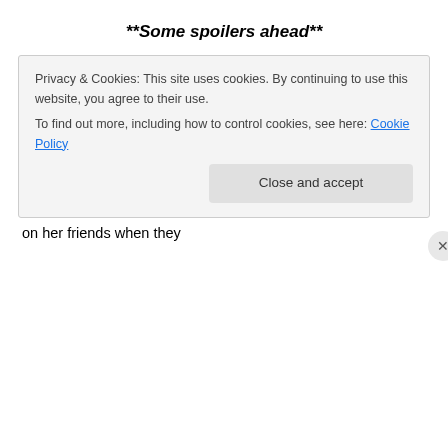**Some spoilers ahead**
The film is written by Imtiaz Ali and Sajid Ali but there is nothing new in the story. Protagonists indulging in casual sex, drinking and partying hard may have been novel ideas for Indian cinema in the last decade but not in 2012. Even from the love triangle point of view, there is nothing new… there are no surprises on who gets the guy – the girl who wears short dresses and drinks or the girl who worships and puts a blanket on her friends when they
Privacy & Cookies: This site uses cookies. By continuing to use this website, you agree to their use.
To find out more, including how to control cookies, see here: Cookie Policy
Close and accept